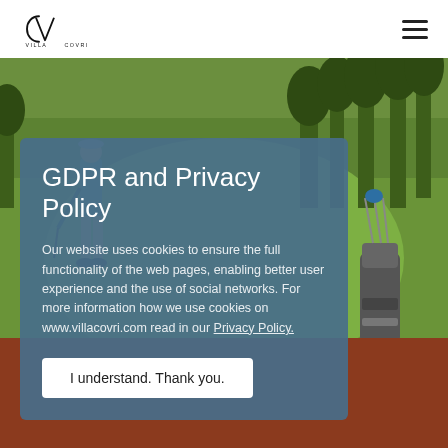[Figure (logo): Villa Covri logo with stylized CV monogram and text VILLA COVRI]
[Figure (photo): Golf course photo showing a golfer on a green fairway with a golf bag and trees in background]
GDPR and Privacy Policy
Our website uses cookies to ensure the full functionality of the web pages, enabling better user experience and the use of social networks. For more information how we use cookies on www.villacovri.com read in our Privacy Policy.
I understand. Thank you.